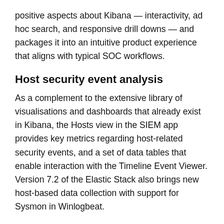positive aspects about Kibana — interactivity, ad hoc search, and responsive drill downs — and packages it into an intuitive product experience that aligns with typical SOC workflows.
Host security event analysis
As a complement to the extensive library of visualisations and dashboards that already exist in Kibana, the Hosts view in the SIEM app provides key metrics regarding host-related security events, and a set of data tables that enable interaction with the Timeline Event Viewer. Version 7.2 of the Elastic Stack also brings new host-based data collection with support for Sysmon in Winlogbeat.
Network security event analysis
Similarly, the Network view informs analysts of key network activity metrics, facilitates investigation time enrichment, and